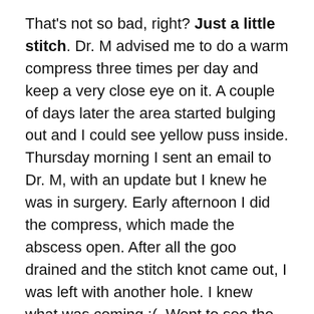That's not so bad, right? Just a little stitch. Dr. M advised me to do a warm compress three times per day and keep a very close eye on it. A couple of days later the area started bulging out and I could see yellow puss inside. Thursday morning I sent an email to Dr. M, with an update but I knew he was in surgery. Early afternoon I did the compress, which made the abscess open. After all the goo drained and the stitch knot came out, I was left with another hole. I knew what was coming :(. Went to see the nurse right away. She took cultures and started making calls to coordinate my surgery for the next day, during which I had the right implant removed, pocket cleaned out, and closed back up without inserting another implant.
So … here I am with one breast again AND I got another drain. Fun fun! I go in for follow up on Monday to find out what is next. This is like a rerun nobody wants to watch